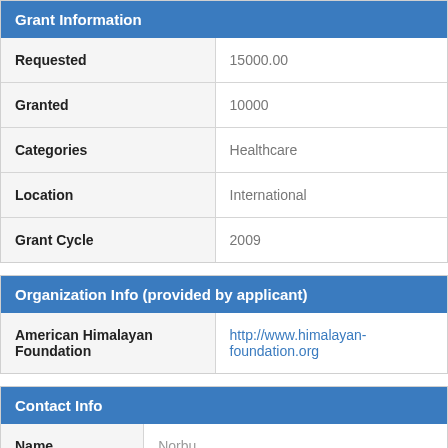Grant Information
| Field | Value |
| --- | --- |
| Requested | 15000.00 |
| Granted | 10000 |
| Categories | Healthcare |
| Location | International |
| Grant Cycle | 2009 |
Organization Info (provided by applicant)
| Organization | URL |
| --- | --- |
| American Himalayan Foundation | http://www.himalayan-foundation.org |
Contact Info
| Field | Value |
| --- | --- |
| Name | Norbu |